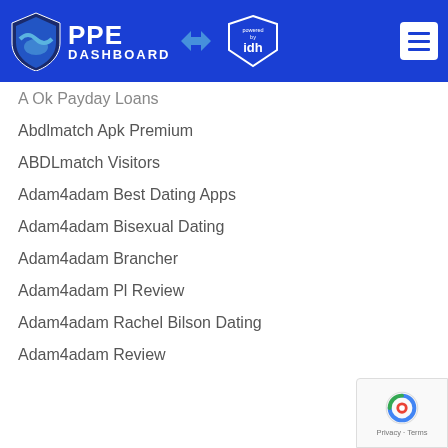PPE DASHBOARD powered by idh
A OK Payday Loans
Abdlmatch Apk Premium
ABDLmatch Visitors
Adam4adam Best Dating Apps
Adam4adam Bisexual Dating
Adam4adam Brancher
Adam4adam Pl Review
Adam4adam Rachel Bilson Dating
Adam4adam Review